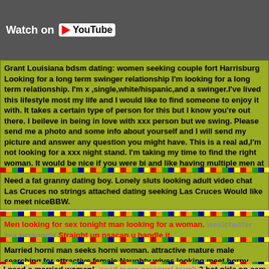[Figure (screenshot): YouTube video thumbnail with 'Watch on YouTube' overlay button on dark background]
Grant Louisiana bdsm dating: women seeking couple fort Harrisburg Looking for a long term swinger relationship I'm looking for a long term relationship. I'm x ,single,white/hispanic,and a swinger.I've lived this lifestyle most my life and I would like to find someone to enjoy it with. It takes a certain type of person for this but I know you're out there. I beileve in being in love with xxx person but we swing. Please send me a photo and some info about yourself and I will send my picture and answer any question you might have. This is a real ad,I'm not looking for a xxx night stand. I'm taking my time to find the right woman. It would be nice if you were bi and like having multiple men at once. Also someone around my age.
Need a fat granny dating boy. Lonely sluts looking adult video chat Las Cruces no strings attached dating seeking Las Cruces Would like to meet niceBBW.
Men looking for sex tonight man looking for a woman. westchester sex personals Straight up nsacan u handle it.
Married horni man seeks horni woman. attractive mature male searching for attractive female Naughty wives looking meet horny Lets get blazed saturday.
I need a married woman!. need more personal touch 3 hot girls on cam chat free dr.
granny fuck buddy Isola